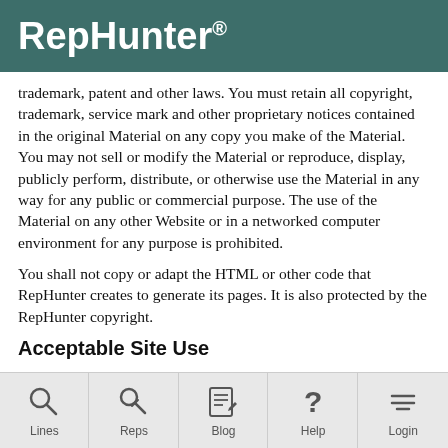RepHunter®
trademark, patent and other laws. You must retain all copyright, trademark, service mark and other proprietary notices contained in the original Material on any copy you make of the Material. You may not sell or modify the Material or reproduce, display, publicly perform, distribute, or otherwise use the Material in any way for any public or commercial purpose. The use of the Material on any other Website or in a networked computer environment for any purpose is prohibited.
You shall not copy or adapt the HTML or other code that RepHunter creates to generate its pages. It is also protected by the RepHunter copyright.
Acceptable Site Use
General Rules: Users may not use the Website in order to transmit, distribute, store or destroy material (a) in violation of any applicable laws or regulations, (b) in a manner that will
Lines | Reps | Blog | Help | Login